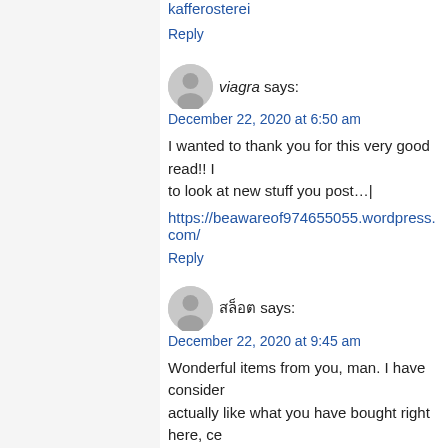kafferosterei
Reply
viagra says:
December 22, 2020 at 6:50 am
I wanted to thank you for this very good read!! I to look at new stuff you post…|
https://beawareof974655055.wordpress.com/
Reply
สล็อต says:
December 22, 2020 at 9:45 am
Wonderful items from you, man. I have consider actually like what you have bought right here, ce wherein you assert it. You make it entertaining a to read much more from you. This is really a ter
https://izabellanader.mystrikingly.com
Reply
slot online deposit 10 ribu says: